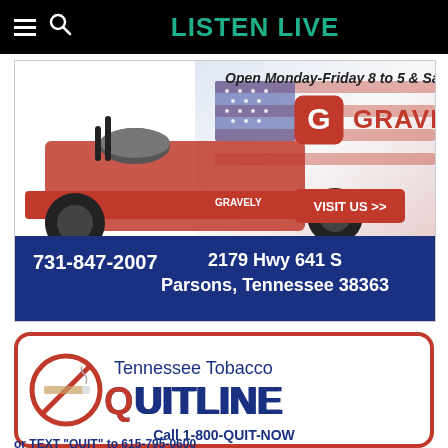LISTEN LIVE
[Figure (photo): Gravely zero-turn mower advertisement. Text reads: 'Open Monday-Friday 8 to 5 & Saturdays 8 to noon'. Gravely logo shown. Button: 'VISIT US >>'. Address: 731-847-2007, 2179 Hwy 641 S, Parsons, Tennessee 38363.]
[Figure (infographic): Tennessee Tobacco Quitline advertisement with no-smoking symbol incorporating a cigarette. Text: 'Tennessee Tobacco QUITLINE. Call 1-800-QUIT-NOW or TEXT "QUIT" to 615-795-0600'.]